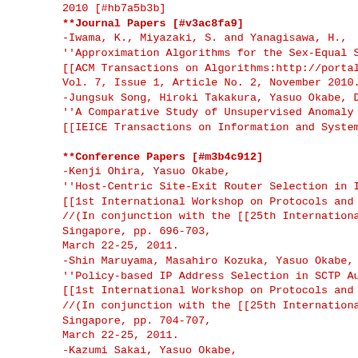2010 [#hb7a5b3b]
**Journal Papers [#v3ac8fa9]
-Iwama, K., Miyazaki, S. and Yanagisawa, H.,
''Approximation Algorithms for the Sex-Equal Stable Marria
[[ACM Transactions on Algorithms:http://portal.acm.org/cit
Vol. 7, Issue 1, Article No. 2, November 2010.
-Jungsuk Song, Hiroki Takakura, Yasuo Okabe, Daisuke Inoue
''A Comparative Study of Unsupervised Anomaly Detection Te
[[IEICE Transactions on Information and Systems, Vol.E93-D
**Conference Papers [#m3b4c912]
-Kenji Ohira, Yasuo Okabe,
''Host-Centric Site-Exit Router Selection in IPv6 Site Mul
[[1st International Workshop on Protocols and Applications
//(In conjunction with the [[25th International Conference
Singapore, pp. 696-703,
March 22-25, 2011.
-Shin Maruyama, Masahiro Kozuka, Yasuo Okabe, Motonori Nak
''Policy-based IP Address Selection in SCTP Automatic Addr
[[1st International Workshop on Protocols and Applications
//(In conjunction with the [[25th International Conference
Singapore, pp. 704-707,
March 22-25, 2011.
-Kazumi Sakai, Yasuo Okabe,
''Quality-aware Energy Routing toward On-demand Home Energ
Proc. [[IEEE Consumer Communications and Networking Confer
(Special Session on Ecological Home Network), pp.822-825,
Jan. 2011.
-Miyazaki, S. and Okamoto, K.,
''Improving the Competitive Ratios of the Seat Reservatio